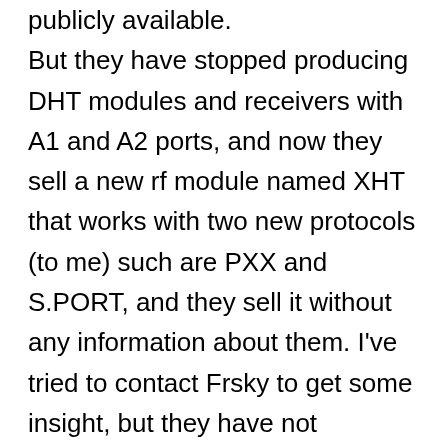publicly available. But they have stopped producing DHT modules and receivers with A1 and A2 ports, and now they sell a new rf module named XHT that works with two new protocols (to me) such are PXX and S.PORT, and they sell it without any information about them. I've tried to contact Frsky to get some insight, but they have not answered to me. I wonder what kind of costumer is this product targeted to. And now the question: do you think there are better alternatives, other than XHT, enough documented, to substitute the DHT modules and get the telemetry from a